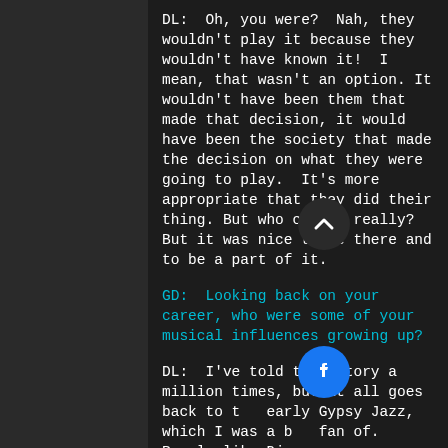DL:  Oh, you were?  Nah, they wouldn't play it because they wouldn't have known it!  I mean, that wasn't an option. It wouldn't have been them that made that decision, it would have been the society that made the decision on what they were going to play.  It's more appropriate that they did their thing. But who cares, really? But it was nice to be there and to be a part of it.
GD:  Looking back on your career, who were some of your musical influences growing up?
DL:  I've told this story a million times, but it all goes back to the early Gypsy Jazz, which I was a big fan of.  People like Django...